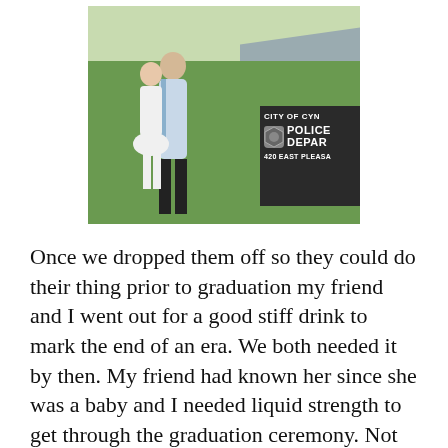[Figure (photo): A couple posing outdoors next to a City of Cyn[thiana] Police Department sign at 420 East Pleasa[nt]. A man in a light blue dress shirt and dark pants embraces a woman in a white dress. Green lawn visible with a road and houses in the background.]
Once we dropped them off so they could do their thing prior to graduation my friend and I went out for a good stiff drink to mark the end of an era. We both needed it by then. My friend had known her since she was a baby and I needed liquid strength to get through the graduation ceremony. Not only was my youngest daughter graduating, I was lost. I'd